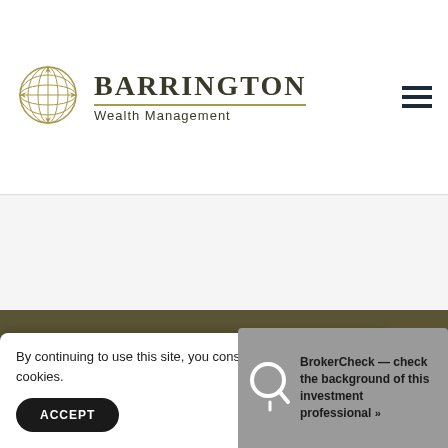[Figure (logo): Barrington Wealth Management logo with globe icon and company name]
[Figure (other): Hamburger menu icon (three horizontal dark lines) in top right corner]
[Figure (other): Light gray hero section / banner area]
[Figure (other): Olive/dark khaki footer section background]
By continuing to use this site, you consent to our use of cookies.
ACCEPT
BrokerCheck — check the background of this investment professional »»